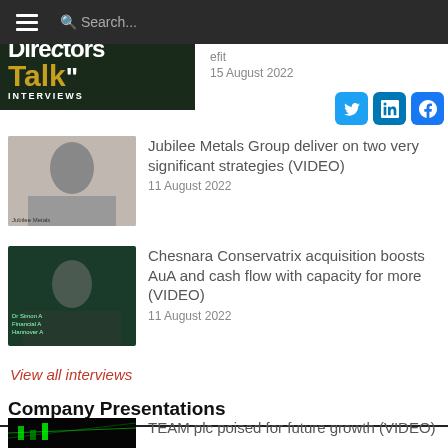Arbuthnot Banking relationship banking
[Figure (screenshot): Directors Talk Interviews logo — dark green background with white bold text 'Directors' and gold 'Talk', white uppercase 'INTERVIEWS' below]
15 August 2022
Search...
[Figure (other): Social media icon buttons: Twitter (blue bird), LinkedIn (blue in), Facebook (blue f)]
[Figure (photo): Thumbnail of a man in a suit — Jubilee Metals Group interview video thumbnail]
Jubilee Metals Group deliver on two very significant strategies (VIDEO)
11 August 2022
[Figure (photo): Thumbnail of a man in a suit against a dark green background — Chesnara Conservatrix interview video thumbnail, text: Dr Simon A, Financial A, Hannover A]
Chesnara Conservatrix acquisition boosts AuA and cash flow with capacity for more (VIDEO)
11 August 2022
View all interviews
Company Presentations
[Figure (photo): Dark thumbnail with green circuit board / data lights — TEAM plc video thumbnail]
TEAM plc poised for future growth (VIDEO)